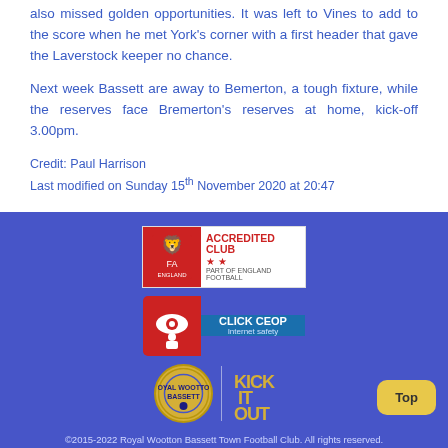also missed golden opportunities. It was left to Vines to add to the score when he met York's corner with a first header that gave the Laverstock keeper no chance.
Next week Bassett are away to Bemerton, a tough fixture, while the reserves face Bremerton's reserves at home, kick-off 3.00pm.
Credit: Paul Harrison
Last modified on Sunday 15th November 2020 at 20:47
[Figure (logo): FA Accredited Club two-star logo, part of England Football]
[Figure (logo): Click CEOP Internet Safety badge]
[Figure (logo): Royal Wootton Bassett Town FC club crest and Kick It Out logo side by side]
©2015-2022 Royal Wootton Bassett Town Football Club. All rights reserved. Royal Wootton Bassett Town FC is an England Football Accredited Two Star Club.